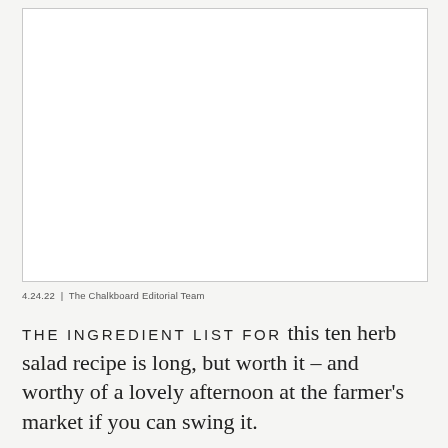[Figure (photo): Large white/blank image placeholder with a light gray border]
4.24.22 | The Chalkboard Editorial Team
THE INGREDIENT LIST FOR this ten herb salad recipe is long, but worth it – and worthy of a lovely afternoon at the farmer's market if you can swing it.